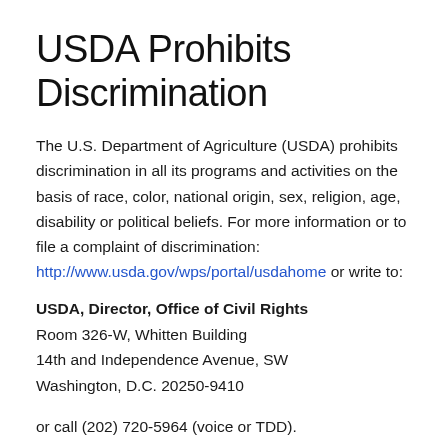USDA Prohibits Discrimination
The U.S. Department of Agriculture (USDA) prohibits discrimination in all its programs and activities on the basis of race, color, national origin, sex, religion, age, disability or political beliefs. For more information or to file a complaint of discrimination: http://www.usda.gov/wps/portal/usdahome or write to:
USDA, Director, Office of Civil Rights
Room 326-W, Whitten Building
14th and Independence Avenue, SW
Washington, D.C. 20250-9410
or call (202) 720-5964 (voice or TDD).